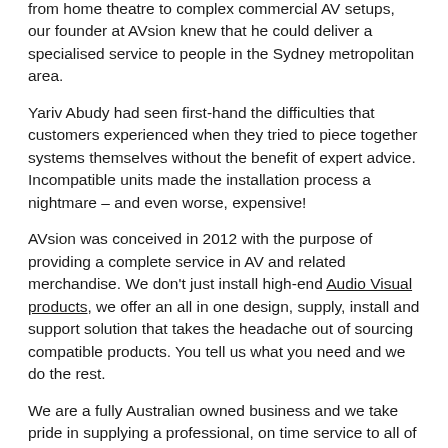from home theatre to complex commercial AV setups, our founder at AVsion knew that he could deliver a specialised service to people in the Sydney metropolitan area.
Yariv Abudy had seen first-hand the difficulties that customers experienced when they tried to piece together systems themselves without the benefit of expert advice. Incompatible units made the installation process a nightmare – and even worse, expensive!
AVsion was conceived in 2012 with the purpose of providing a complete service in AV and related merchandise. We don't just install high-end Audio Visual products, we offer an all in one design, supply, install and support solution that takes the headache out of sourcing compatible products. You tell us what you need and we do the rest.
We are a fully Australian owned business and we take pride in supplying a professional, on time service to all of our customers.
Our technical crew hold the required certifications and licences for safe installation to protect your home or workplace and we back this up with a 12 month Service Warranty – products are covered by the manufacturer's warranty.